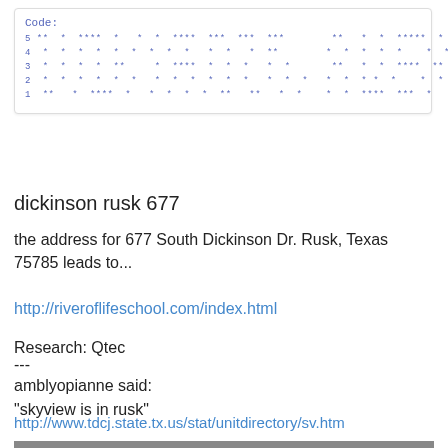[Figure (other): A monospace code block with label 'Code:' showing rows numbered 1-5 of asterisks and dots in blue monospace font, inside a bordered box.]
dickinson rusk 677
the address for 677 South Dickinson Dr. Rusk, Texas 75785 leads to...
http://riveroflifeschool.com/index.html
Research: Qtec
---
amblyopianne said:
"skyview is in rusk"
http://www.tdcj.state.tx.us/stat/unitdirectory/sv.htm
[Figure (photo): Partial photo strip visible at the very bottom of the page.]